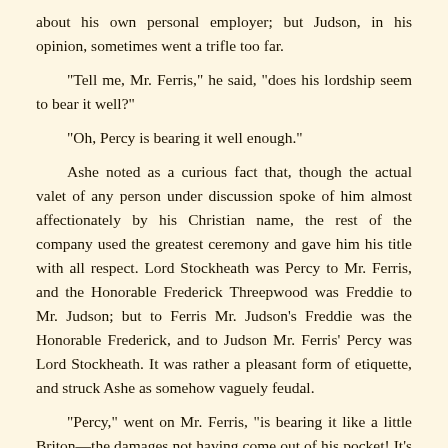about his own personal employer; but Judson, in his opinion, sometimes went a trifle too far.

“Tell me, Mr. Ferris,” he said, “does his lordship seem to bear it well?”

“Oh, Percy is bearing it well enough.”

Ashe noted as a curious fact that, though the actual valet of any person under discussion spoke of him almost affectionately by his Christian name, the rest of the company used the greatest ceremony and gave him his title with all respect. Lord Stockheath was Percy to Mr. Ferris, and the Honorable Frederick Threepwood was Freddie to Mr. Judson; but to Ferris Mr. Judson’s Freddie was the Honorable Frederick, and to Judson Mr. Ferris’ Percy was Lord Stockheath. It was rather a pleasant form of etiquette, and struck Ashe as somehow vaguely feudal.

“Percy,” went on Mr. Ferris, “is bearing it like a little Briton—the damages not having come out of his pocket! It’s his old father—who had to pay them—that’s taking it to heart. You might say he’s doing himself proud. He says it’s